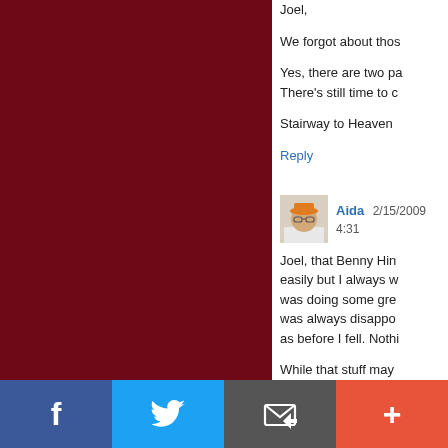Joel,
We forgot about thos
Yes, there are two pa There's still time to c
Stairway to Heaven
Reply
Aida  2/15/2009 4:31
Joel, that Benny Hin easily but I always w was doing some gre was always disappo as before I fell. Nothi
While that stuff may accomplish anything
BTW, I have grow